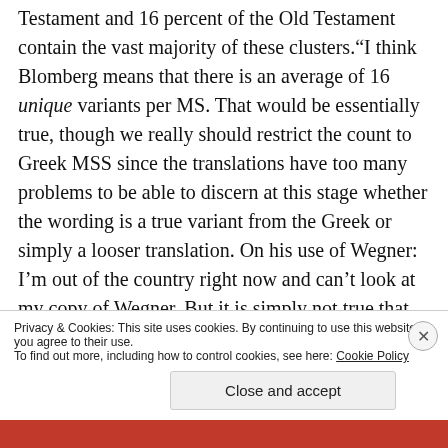Testament and 16 percent of the Old Testament contain the vast majority of these clusters.“I think Blomberg means that there is an average of 16 unique variants per MS. That would be essentially true, though we really should restrict the count to Greek MSS since the translations have too many problems to be able to discern at this stage whether the wording is a true variant from the Greek or simply a looser translation. On his use of Wegner: I’m out of the country right now and can’t look at my copy of Wegner. But it is simply not true that only 6% of the NT contains “the vast majority of these clusters.” There…
Privacy & Cookies: This site uses cookies. By continuing to use this website, you agree to their use.
To find out more, including how to control cookies, see here: Cookie Policy
Close and accept